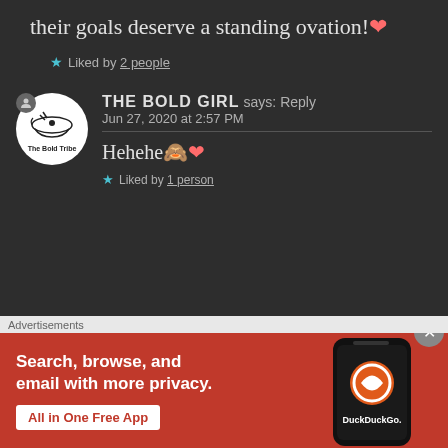their goals deserve a standing ovation!❤️
★ Liked by 2 people
THE BOLD GIRL says: Reply
Jun 27, 2020 at 2:57 PM
Hehehe🙈❤️
★ Liked by 1 person
Advertisements
[Figure (screenshot): DuckDuckGo advertisement banner with orange/red background showing 'Search, browse, and email with more privacy. All in One Free App' with a phone mockup showing DuckDuckGo app]